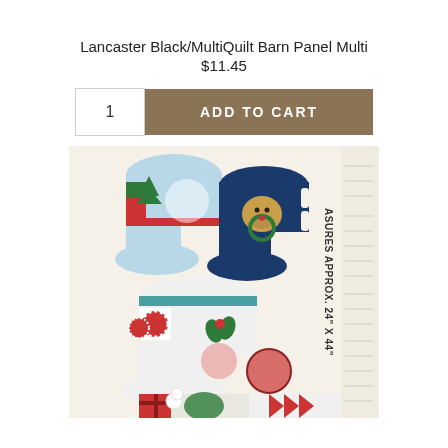Lancaster Black/MultiQuilt Barn Panel Multi
$11.45
1
ADD TO CART
[Figure (photo): Fabric panel showing Christmas stockings with dog and cat motifs, holly, candy canes, peppermints, and chevron patterns on a cream background. Rotated text on the right reads: ASURES APPROX. 24" X 44"]
ASURES APPROX. 24" X 44"